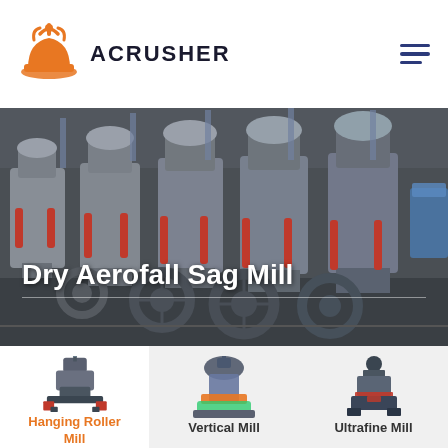[Figure (logo): Acrusher logo with orange hard hat icon and bold uppercase text ACRUSHER]
Dry Aerofall Sag Mill
[Figure (photo): Industrial grinding mill machines in a factory setting, grey heavy equipment lined up in a large warehouse]
[Figure (photo): Hanging Roller Mill machine product photo]
Hanging Roller Mill
[Figure (photo): Vertical Mill machine product photo]
Vertical Mill
[Figure (photo): Ultrafine Mill machine product photo]
Ultrafine Mill